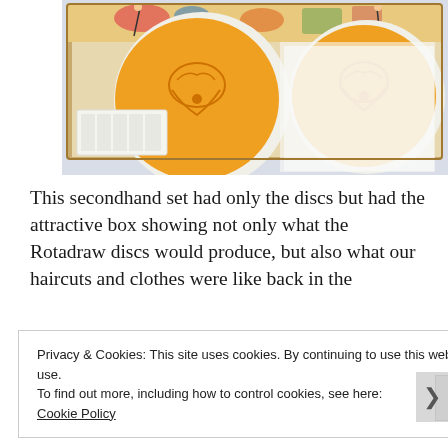[Figure (photo): An open cardboard box containing two orange Rotadraw discs with line drawings on them, a white plastic tray with compartments, and white paper sheets. The box lid shows colorful illustrations of children and the product in use.]
This secondhand set had only the discs but had the attractive box showing not only what the Rotadraw discs would produce, but also what our haircuts and clothes were like back in the
Privacy & Cookies: This site uses cookies. By continuing to use this website, you agree to their use.
To find out more, including how to control cookies, see here:
Cookie Policy